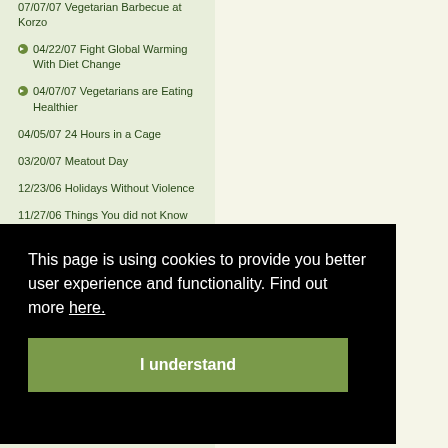07/07/07 Vegetarian Barbecue at Korzo
04/22/07 Fight Global Warming With Diet Change
04/07/07 Vegetarians are Eating Healthier
04/05/07 24 Hours in a Cage
03/20/07 Meatout Day
12/23/06 Holidays Without Violence
11/27/06 Things You did not Know About Bryan Adams
09/15/06 Compassionate People Do Not Eat Animals
This page is using cookies to provide you better user experience and functionality. Find out more here.
I understand
03/01/06 Quarantine and